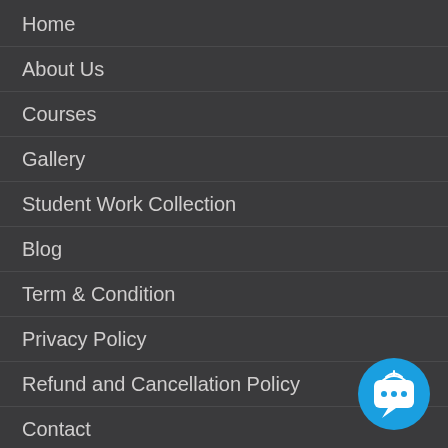Home
About Us
Courses
Gallery
Student Work Collection
Blog
Term & Condition
Privacy Policy
Refund and Cancellation Policy
Contact
[Figure (illustration): Blue circular chat/bot button with speech bubble icon and wifi/broadcast symbol at bottom right corner]